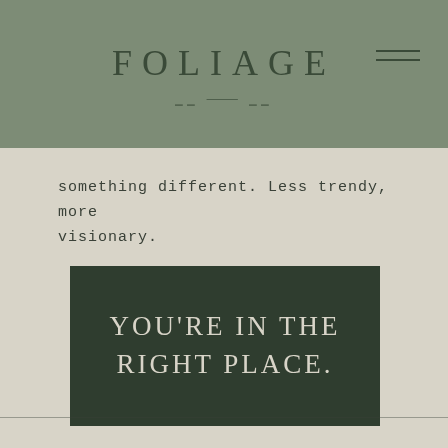FOLIAGE
something different. Less trendy, more visionary.
[Figure (other): Dark green banner box containing large serif uppercase text reading YOU'RE IN THE RIGHT PLACE.]